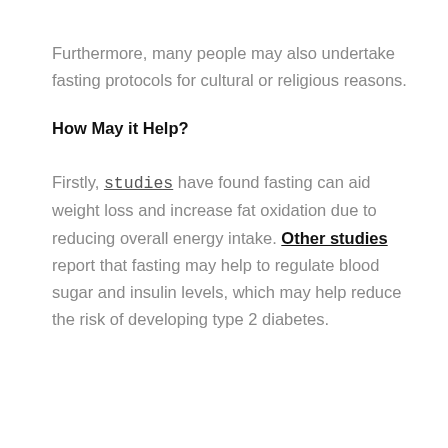Furthermore, many people may also undertake fasting protocols for cultural or religious reasons.
How May it Help?
Firstly, studies have found fasting can aid weight loss and increase fat oxidation due to reducing overall energy intake. Other studies report that fasting may help to regulate blood sugar and insulin levels, which may help reduce the risk of developing type 2 diabetes.